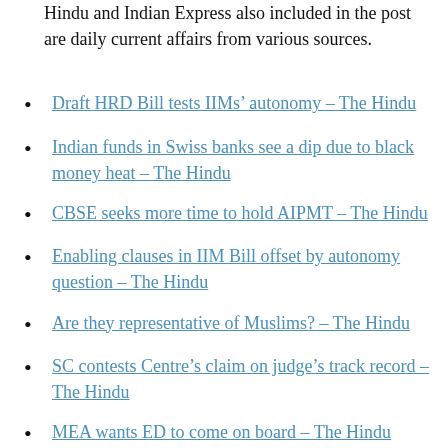Hindu and Indian Express also included in the post are daily current affairs from various sources.
Draft HRD Bill tests IIMs’ autonomy – The Hindu
Indian funds in Swiss banks see a dip due to black money heat – The Hindu
CBSE seeks more time to hold AIPMT – The Hindu
Enabling clauses in IIM Bill offset by autonomy question – The Hindu
Are they representative of Muslims? – The Hindu
SC contests Centre’s claim on judge’s track record – The Hindu
MEA wants ED to come on board – The Hindu